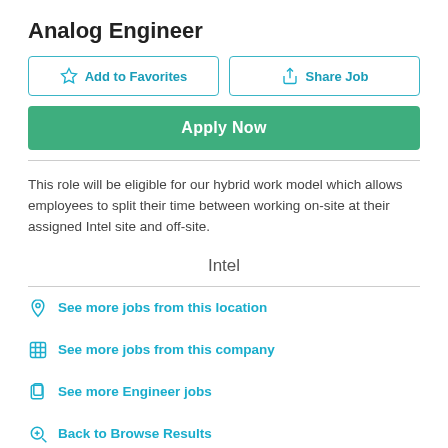Analog Engineer
Add to Favorites | Share Job | Apply Now
This role will be eligible for our hybrid work model which allows employees to split their time between working on-site at their assigned Intel site and off-site.
Intel
See more jobs from this location
See more jobs from this company
See more Engineer jobs
Back to Browse Results